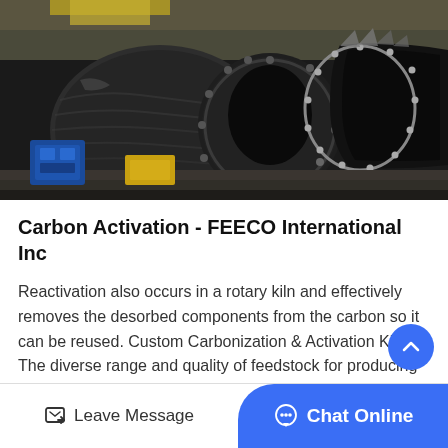[Figure (photo): Industrial rotary kiln or turbine engine component viewed from the side, showing large cylindrical metal structure with bolts, fins, and mechanical components in an industrial facility. Blue equipment visible in background.]
Carbon Activation - FEECO International Inc
Reactivation also occurs in a rotary kiln and effectively removes the desorbed components from the carbon so it can be reused. Custom Carbonization & Activation Kilns The diverse range and quality of feedstock for producing activated carbon requires a flexible…
Leave Message   Chat Online